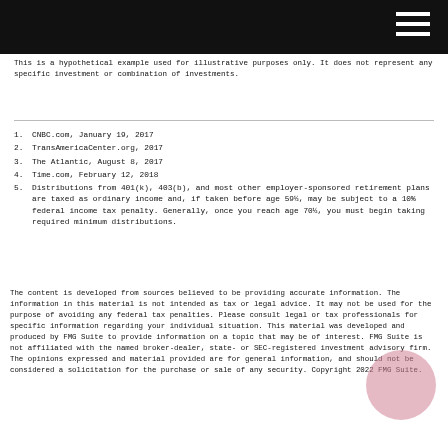This is a hypothetical example used for illustrative purposes only. It does not represent any specific investment or combination of investments.
1. CNBC.com, January 19, 2017
2. TransAmericaCenter.org, 2017
3. The Atlantic, August 8, 2017
4. Time.com, February 12, 2018
5. Distributions from 401(k), 403(b), and most other employer-sponsored retirement plans are taxed as ordinary income and, if taken before age 59½, may be subject to a 10% federal income tax penalty. Generally, once you reach age 70½, you must begin taking required minimum distributions.
The content is developed from sources believed to be providing accurate information. The information in this material is not intended as tax or legal advice. It may not be used for the purpose of avoiding any federal tax penalties. Please consult legal or tax professionals for specific information regarding your individual situation. This material was developed and produced by FMG Suite to provide information on a topic that may be of interest. FMG Suite is not affiliated with the named broker-dealer, state- or SEC-registered investment advisory firm. The opinions expressed and material provided are for general information, and should not be considered a solicitation for the purchase or sale of any security. Copyright 2022 FMG Suite.